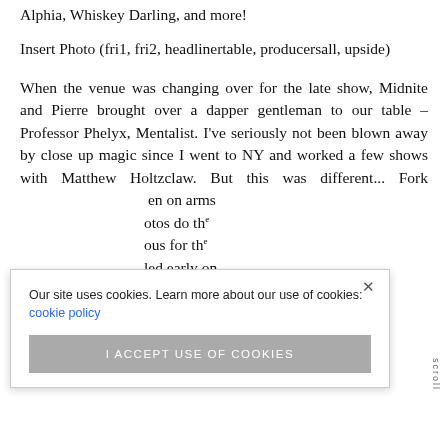Alphia, Whiskey Darling, and more!
Insert Photo (fri1, fri2, headlinertable, producersall, upside)
When the venue was changing over for the late show, Midnite and Pierre brought over a dapper gentleman to our table – Professor Phelyx, Mentalist. I've seriously not been blown away by close up magic since I went to NY and worked a few shows with Matthew Holtzclaw. But this was different... Fork bending on arms ...otos do th... ...ous for th... ...led early on was written on the inside of his arm!
Our site uses cookies. Learn more about our use of cookies: cookie policy
I ACCEPT USE OF COOKIES